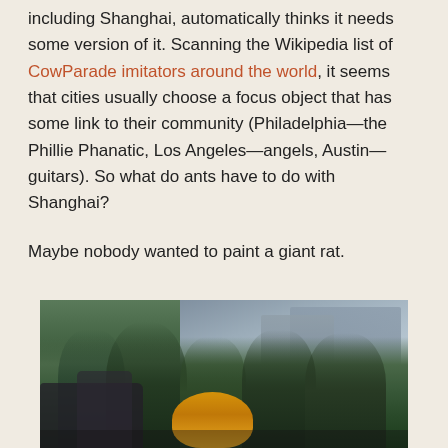including Shanghai, automatically thinks it needs some version of it. Scanning the Wikipedia list of CowParade imitators around the world, it seems that cities usually choose a focus object that has some link to their community (Philadelphia—the Phillie Phanatic, Los Angeles—angels, Austin—guitars). So what do ants have to do with Shanghai?

Maybe nobody wanted to paint a giant rat.
[Figure (photo): Outdoor photo showing trees and people in what appears to be Shanghai, with buildings and sky visible in the background, and a yellow object in the foreground.]